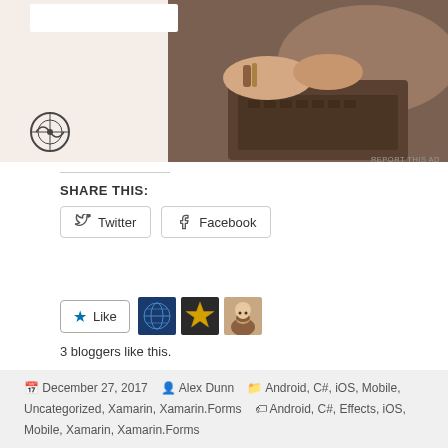[Figure (photo): Advertisement banner with WordPress logo on left and photo of person typing on laptop on right, on a beige/peach background]
REPORT THIS AD
SHARE THIS:
Twitter   Facebook
[Figure (other): Like button with star icon and three blogger avatars: blue circular avatar, gold star avatar, and bearded person avatar]
3 bloggers like this.
December 27, 2017  Alex Dunn  Android, C#, iOS, Mobile, Uncategorized, Xamarin, Xamarin.Forms  Android, C#, Effects, iOS, Mobile, Xamarin, Xamarin.Forms
98 thoughts on “Xamarin.Tip – Xamarin.Forms Long Press Effect”